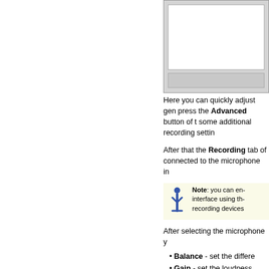[Figure (screenshot): Partial screenshot of a recording/audio settings dialog box showing a white content area and a grey toolbar bar at bottom.]
Here you can quickly adjust gen... press the Advanced button of t... some additional recording settin...
After that the Recording tab of... connected to the microphone in...
Note: you can e... interface using th... recording devices...
After selecting the microphone y...
Balance - set the differe...
Gain - set the loudness...
Recording Mode - choo... or mix it with the recorde...
Recording Path - speci... into the existing file sele...
Pressing the Advanced... butto... adjust some advanced settings... documentation for more details...